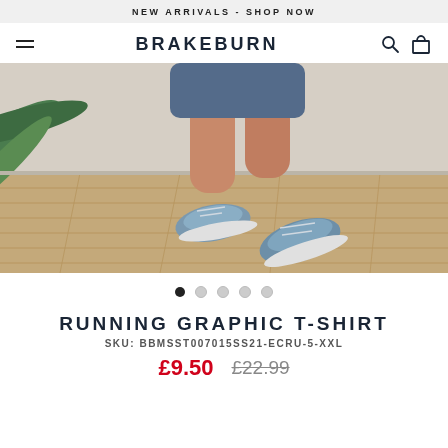NEW ARRIVALS - SHOP NOW
[Figure (logo): Brakeburn brand logo with hamburger menu, search and cart icons]
[Figure (photo): Person wearing blue canvas sneakers and denim shorts standing on a wooden floor with a palm plant in background]
RUNNING GRAPHIC T-SHIRT
SKU: BBMSST007015SS21-ECRU-5-XXL
£9.50   £22.99